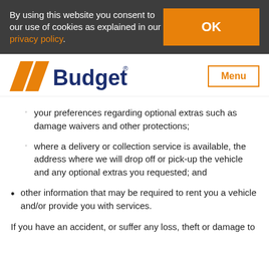By using this website you consent to our use of cookies as explained in our privacy policy.
[Figure (logo): Budget car rental logo with orange triangle/chevron and dark blue 'Budget' wordmark]
your preferences regarding optional extras such as damage waivers and other protections;
where a delivery or collection service is available, the address where we will drop off or pick-up the vehicle and any optional extras you requested; and
other information that may be required to rent you a vehicle and/or provide you with services.
If you have an accident, or suffer any loss, theft or damage to